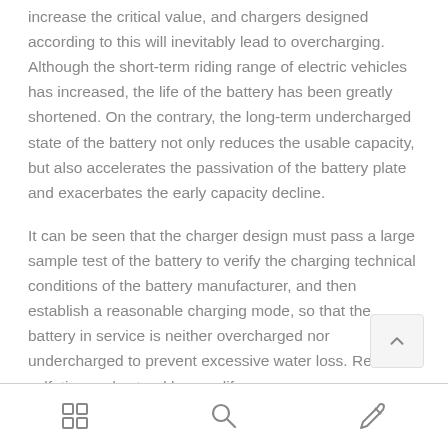increase the critical value, and chargers designed according to this will inevitably lead to overcharging. Although the short-term riding range of electric vehicles has increased, the life of the battery has been greatly shortened. On the contrary, the long-term undercharged state of the battery not only reduces the usable capacity, but also accelerates the passivation of the battery plate and exacerbates the early capacity decline.
It can be seen that the charger design must pass a large sample test of the battery to verify the charging technical conditions of the battery manufacturer, and then establish a reasonable charging mode, so that the battery in service is neither overcharged nor undercharged to prevent excessive water loss. Reduce sulfation and extend battery life.
[grid icon] [search icon] [edit icon]